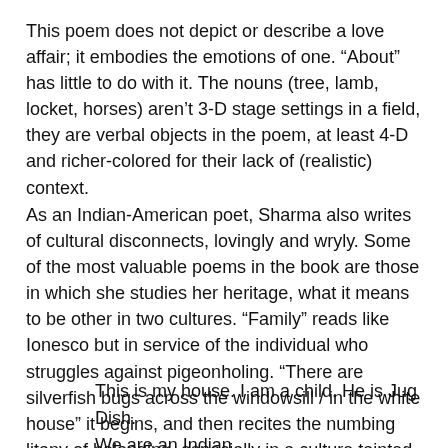This poem does not depict or describe a love affair; it embodies the emotions of one. “About” has little to do with it. The nouns (tree, lamb, locket, horses) aren’t 3-D stage settings in a field, they are verbal objects in the poem, at least 4-D and richer-colored for their lack of (realistic) context.
As an Indian-American poet, Sharma also writes of cultural disconnects, lovingly and wryly. Some of the most valuable poems in the book are those in which she studies her heritage, what it means to be other in two cultures. “Family” reads like Ionesco but in service of the individual who struggles against pigeonholing. “There are silverfish bugs across the windowsill / in the white house” it begins, and then recites the numbing litany of belonging, especially in a culture tainted by empire:
This is my house. I am a child. He is Jug Dish.
We are an Indian
family with Indian friends from India. Jug Dish